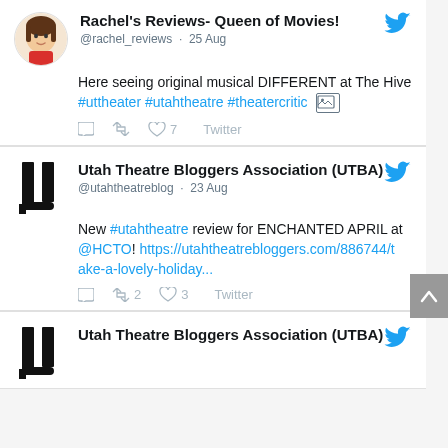[Figure (screenshot): Twitter/social media feed screenshot showing three tweets]
Rachel's Reviews- Queen of Movies! @rachel_reviews · 25 Aug
Here seeing original musical DIFFERENT at The Hive #uttheater #utahtheatre #theatercritic [image icon]
[reply] [retweet] [like] 7 Twitter
Utah Theatre Bloggers Association (UTBA) @utahtheatreblog · 23 Aug
New #utahtheatre review for ENCHANTED APRIL at @HCTO! https://utahtheatrebloggers.com/886744/take-a-lovely-holiday...
[reply] [retweet] 2 [like] 3 Twitter
Utah Theatre Bloggers Association (UTBA)